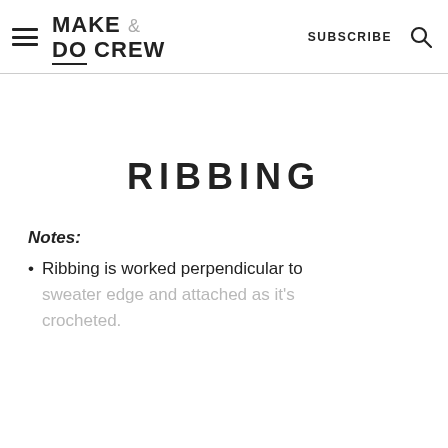MAKE & DO CREW — SUBSCRIBE
RIBBING
Notes:
Ribbing is worked perpendicular to sweater edge and attached as it's crocheted.